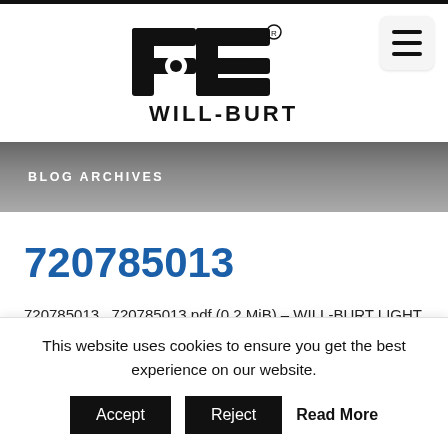[Figure (logo): Will-Burt company logo with stylized WB lettermark and WILL-BURT text below]
BLOG ARCHIVES
720785013
720785013 , 720785013.pdf (0.2 MiB) – WILL-BURT LIGHT TOWER SPECIFICATIONS Night Scan Chief NS 2.3-1344-4 FRC Spectra Max 240 VAC Model Number 720785015 2D
This website uses cookies to ensure you get the best experience on our website.